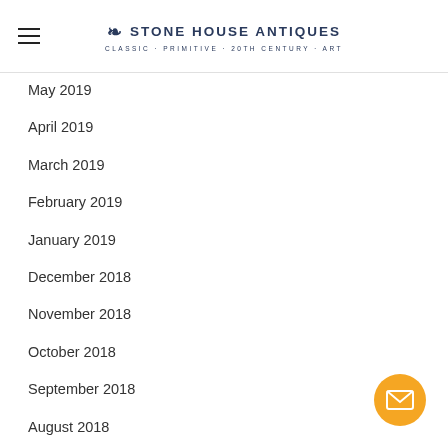Stone House Antiques — Classic · Primitive · 20th Century · Art
May 2019
April 2019
March 2019
February 2019
January 2019
December 2018
November 2018
October 2018
September 2018
August 2018
July 2018
June 2018
May 2018
April 2018
March 2018
February 2018
January 2018
December 2017